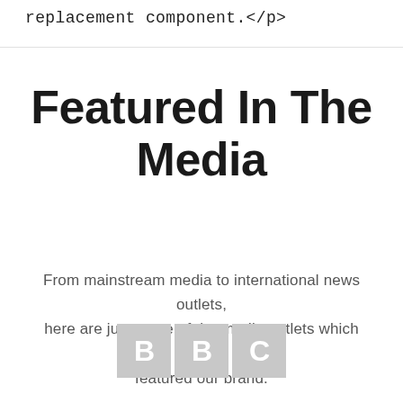replacement component.</p>
Featured In The Media
From mainstream media to international news outlets, here are just some of the media outlets which have featured our brand.
[Figure (logo): BBC logo — three grey squares each containing a white letter: B, B, C]